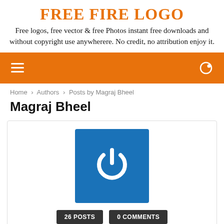FREE FIRE LOGO
Free logos, free vector & free Photos instant free downloads and without copyright use anywherere. No credit, no attribution enjoy it.
[Figure (screenshot): Orange navigation bar with hamburger menu icon on the left and search icon on the right]
Home › Authors › Posts by Magraj Bheel
Magraj Bheel
[Figure (screenshot): Author profile card with blue power button avatar icon, 26 POSTS and 0 COMMENTS badges, and website URL https://freefirelogo.com]